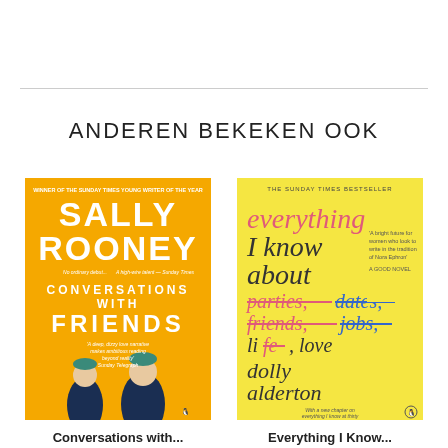ANDEREN BEKEKEN OOK
[Figure (illustration): Book cover of 'Conversations with Friends' by Sally Rooney — yellow/orange cover with two illustrated figures and bold white title text]
Conversations with...
Sally Rooney
[Figure (illustration): Book cover of 'Everything I Know About Love' by Dolly Alderton — yellow cover with strikethrough text on various words]
Everything I Know...
Dolly Alderton